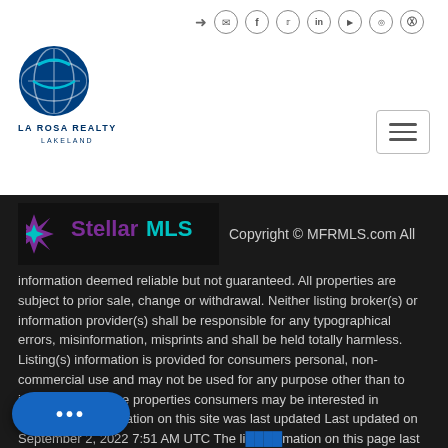[Figure (logo): La Rosa Realty Lakeland logo with circular blue globe graphic and text]
[Figure (logo): Stellar MLS logo with star/snowflake icon in purple and teal, text 'Stellar MLS']
Copyright © MFRMLS.com All information deemed reliable but not guaranteed. All properties are subject to prior sale, change or withdrawal. Neither listing broker(s) or information provider(s) shall be responsible for any typographical errors, misinformation, misprints and shall be held totally harmless. Listing(s) information is provided for consumers personal, non-commercial use and may not be used for any purpose other than to identify prospective properties consumers may be interested in purchasing. Information on this site was last updated Last updated on September 2, 2022 7:51 AM UTC The li...mation on this page last changed on Last updated on ...2022 7:51 AM UTCd. The data relating to real estate for sale on this website comes in part from the Internet Data